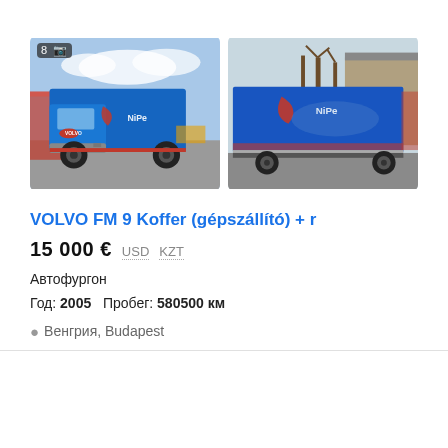[Figure (photo): Two photos of a blue Volvo FM 9 box truck (Koffer). Left photo shows the front-left side of the truck in a parking area with a blue box body branded NiPe. Right photo shows the side view of the blue box body with a NiPe logo.]
VOLVO FM 9 Koffer (gépszállító) + r
15 000 €  USD  KZT
Автофургон
Год: 2005   Пробег: 580500 км
Венгрия, Budapest